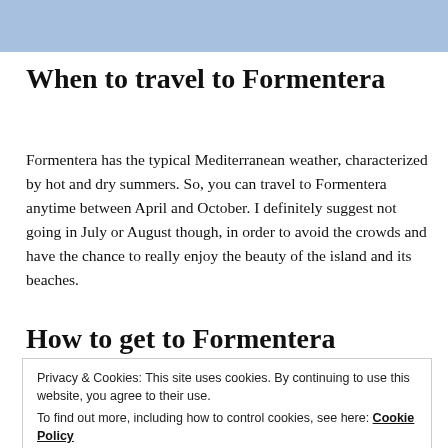[Figure (other): Light blue header bar at the top of the page]
When to travel to Formentera
Formentera has the typical Mediterranean weather, characterized by hot and dry summers. So, you can travel to Formentera anytime between April and October. I definitely suggest not going in July or August though, in order to avoid the crowds and have the chance to really enjoy the beauty of the island and its beaches.
How to get to Formentera
Privacy & Cookies: This site uses cookies. By continuing to use this website, you agree to their use. To find out more, including how to control cookies, see here: Cookie Policy
about 35 minutes. Check it out on the web-site